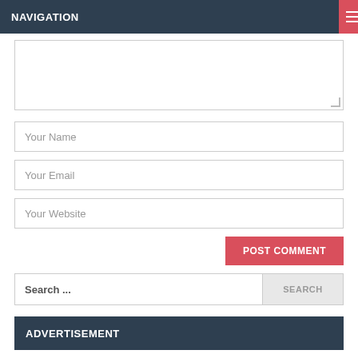NAVIGATION
[textarea - comment input area]
Your Name
Your Email
Your Website
POST COMMENT
Search ...
ADVERTISEMENT